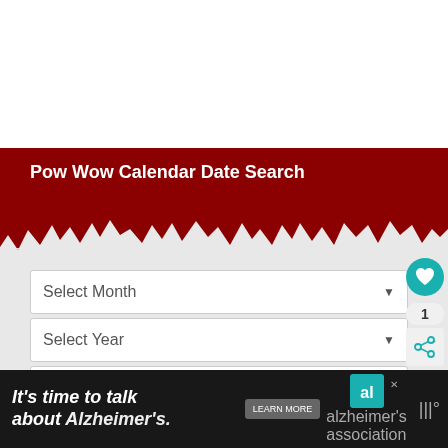Pow Wow Calendar Date Search
[Figure (screenshot): Web form with dark red header banner with jagged white wave bottom edge, three dropdown selectors (Select Month, Select Year, Select State or Province), an orange Go button, floating heart/share widgets on the right, a What's Next panel, and an Alzheimer's Association advertisement banner at the bottom.]